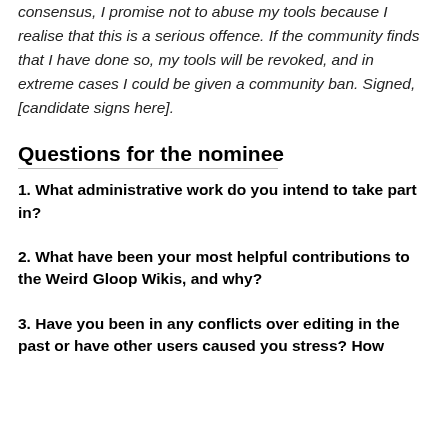consensus, I promise not to abuse my tools because I realise that this is a serious offence. If the community finds that I have done so, my tools will be revoked, and in extreme cases I could be given a community ban. Signed, [candidate signs here].
Questions for the nominee
1. What administrative work do you intend to take part in?
2. What have been your most helpful contributions to the Weird Gloop Wikis, and why?
3. Have you been in any conflicts over editing in the past or have other users caused you stress? How